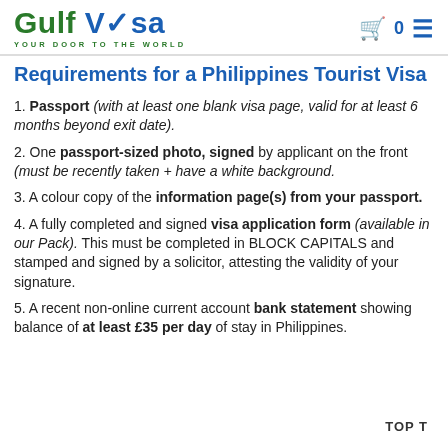Gulf Visa — YOUR DOOR TO THE WORLD
Requirements for a Philippines Tourist Visa
1. Passport (with at least one blank visa page, valid for at least 6 months beyond exit date).
2. One passport-sized photo, signed by applicant on the front (must be recently taken + have a white background.
3. A colour copy of the information page(s) from your passport.
4. A fully completed and signed visa application form (available in our Pack). This must be completed in BLOCK CAPITALS and stamped and signed by a solicitor, attesting the validity of your signature.
5. A recent non-online current account bank statement showing balance of at least £35 per day of stay in Philippines.